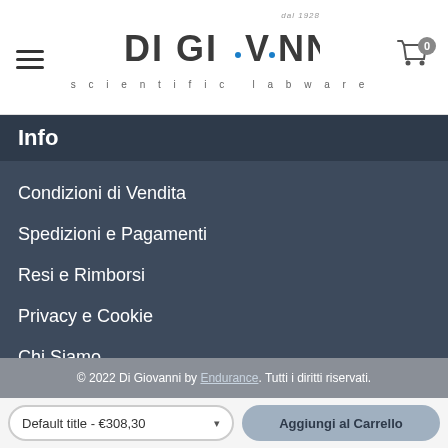Di Giovanni scientific labware — navigation header with hamburger menu and shopping cart (0 items)
Info
Condizioni di Vendita
Spedizioni e Pagamenti
Resi e Rimborsi
Privacy e Cookie
Chi Siamo
Contatti
© 2022 Di Giovanni by Endurance. Tutti i diritti riservati.
Default title - €308,30
Aggiungi al Carrello